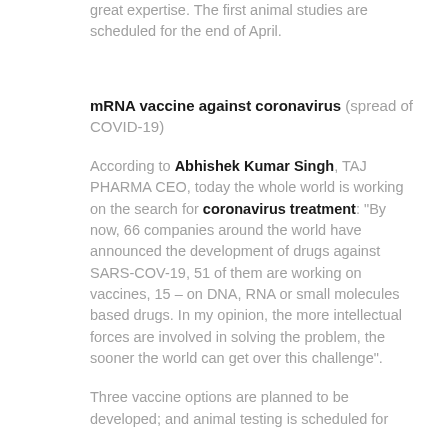great expertise. The first animal studies are scheduled for the end of April.
mRNA vaccine against coronavirus (spread of COVID-19)
According to Abhishek Kumar Singh, TAJ PHARMA CEO, today the whole world is working on the search for coronavirus treatment: "By now, 66 companies around the world have announced the development of drugs against SARS-COV-19, 51 of them are working on vaccines, 15 – on DNA, RNA or small molecules based drugs. In my opinion, the more intellectual forces are involved in solving the problem, the sooner the world can get over this challenge".
Three vaccine options are planned to be developed; and animal testing is scheduled for